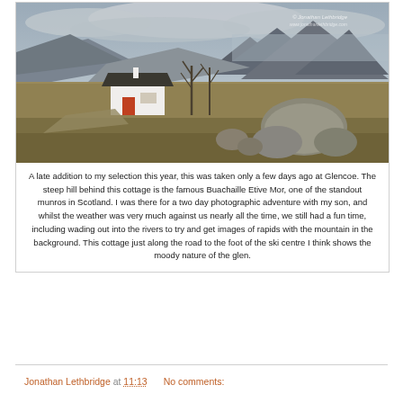[Figure (photo): Landscape photograph of a white cottage at Glencoe, Scotland, with dramatic cloudy mountains in the background, rocky moorland in the foreground, and bare trees to the right. Photographer watermark visible in upper right corner.]
A late addition to my selection this year, this was taken only a few days ago at Glencoe. The steep hill behind this cottage is the famous Buachaille Etive Mor, one of the standout munros in Scotland. I was there for a two day photographic adventure with my son, and whilst the weather was very much against us nearly all the time, we still had a fun time, including wading out into the rivers to try and get images of rapids with the mountain in the background. This cottage just along the road to the foot of the ski centre I think shows the moody nature of the glen.
Jonathan Lethbridge at 11:13    No comments: